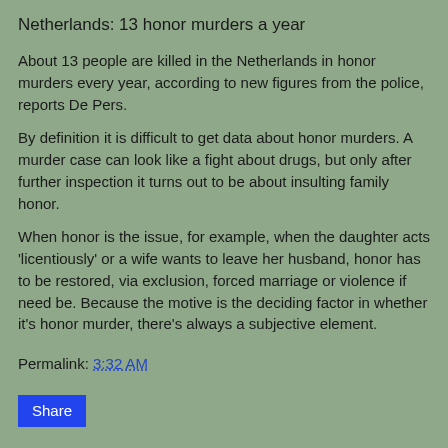Netherlands: 13 honor murders a year
About 13 people are killed in the Netherlands in honor murders every year, according to new figures from the police, reports De Pers.
By definition it is difficult to get data about honor murders. A murder case can look like a fight about drugs, but only after further inspection it turns out to be about insulting family honor.
When honor is the issue, for example, when the daughter acts 'licentiously' or a wife wants to leave her husband, honor has to be restored, via exclusion, forced marriage or violence if need be. Because the motive is the deciding factor in whether it's honor murder, there's always a subjective element.
Permalink: 3:32 AM
Share